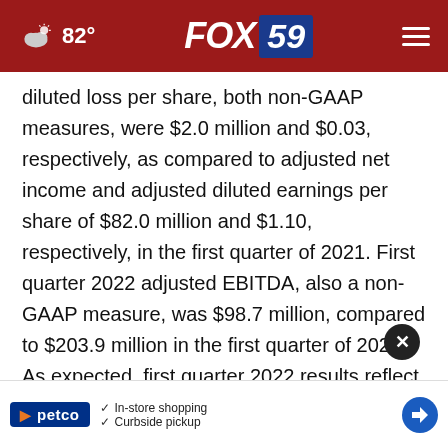82° FOX 59
diluted loss per share, both non-GAAP measures, were $2.0 million and $0.03, respectively, as compared to adjusted net income and adjusted diluted earnings per share of $82.0 million and $1.10, respectively, in the first quarter of 2021. First quarter 2022 adjusted EBITDA, also a non-GAAP measure, was $98.7 million, compared to $203.9 million in the first quarter of 2021. As expected, first quarter 2022 results reflect a significant decline in Oil & Gas segment ... to